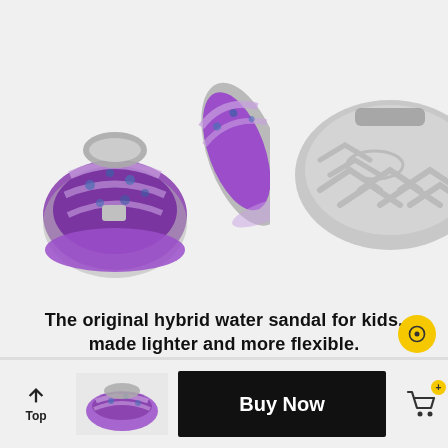[Figure (photo): Two purple/floral KEEN children's water sandals shown from top view (left) and sole view (right) on light gray background]
The original hybrid water sandal for kids, made lighter and more flexible.
[Figure (photo): Small thumbnail of purple floral KEEN children's sandal]
Buy Now
Top